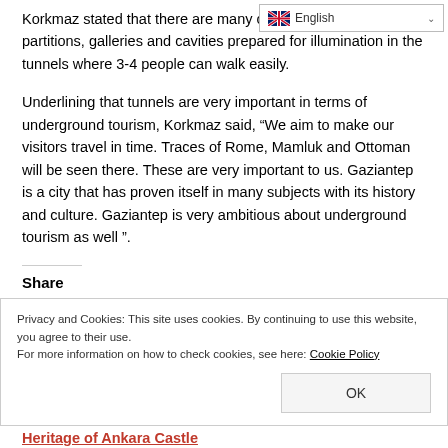[Figure (screenshot): Language selector bar showing English with flag icon and dropdown chevron]
Korkmaz stated that there are many connection roads, partitions, galleries and cavities prepared for illumination in the tunnels where 3-4 people can walk easily.
Underlining that tunnels are very important in terms of underground tourism, Korkmaz said, “We aim to make our visitors travel in time. Traces of Rome, Mamluk and Ottoman will be seen there. These are very important to us. Gaziantep is a city that has proven itself in many subjects with its history and culture. Gaziantep is very ambitious about underground tourism as well ”.
Share
Privacy and Cookies: This site uses cookies. By continuing to use this website, you agree to their use.
For more information on how to check cookies, see here: Cookie Policy
OK
Heritage of Ankara Castle